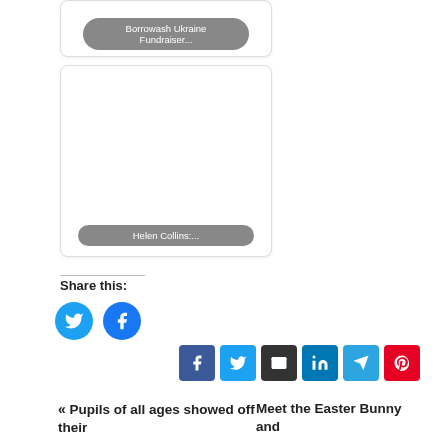[Figure (other): Card thumbnail with label 'Borrowash Ukraine Fundraiser...']
[Figure (other): Card thumbnail with label 'Helen Collins:...']
Share this:
[Figure (other): Twitter circle share button]
[Figure (other): Facebook circle share button]
[Figure (other): Row of share buttons: Facebook, Twitter, Email, LinkedIn, Telegram, Pinterest]
« Pupils of all ages showed off their
Meet the Easter Bunny and